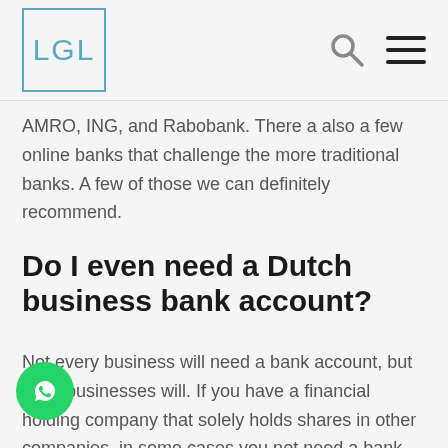[Figure (logo): LGL logo: square border with text 'LGL' in blue/teal color]
[Figure (other): Search icon (magnifying glass) and hamburger menu icon in header navigation]
AMRO, ING, and Rabobank. There a also a few online banks that challenge the more traditional banks. A few of those we can definitely recommend.
Do I even need a Dutch business bank account?
Not every business will need a bank account, but most businesses will. If you have a financial holding company that solely holds shares in other companies, in some cases you not need a bank account. If you are physically operating your
[Figure (other): Green WhatsApp floating action button with chat icon]